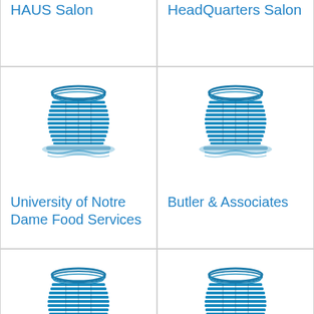[Figure (logo): Blue building/skyscraper icon for HAUS Salon]
HAUS Salon
[Figure (logo): Blue building/skyscraper icon for HeadQuarters Salon]
HeadQuarters Salon
[Figure (logo): Blue building/skyscraper icon for University of Notre Dame Food Services]
University of Notre Dame Food Services
[Figure (logo): Blue building/skyscraper icon for Butler & Associates]
Butler & Associates
[Figure (logo): Blue building/skyscraper icon for Lorentz Bruun]
Lorentz Bruun
[Figure (logo): Blue building/skyscraper icon for Pirg]
Pirg